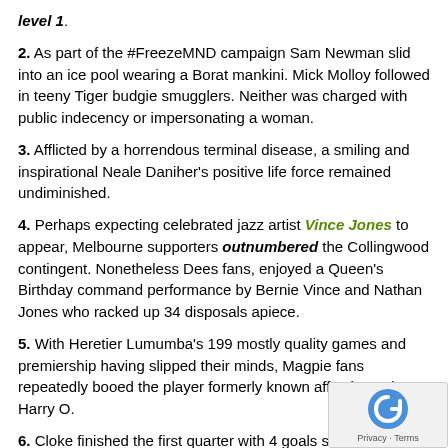level 1.
2. As part of the #FreezeMND campaign Sam Newman slid into an ice pool wearing a Borat mankini. Mick Molloy followed in teeny Tiger budgie smugglers. Neither was charged with public indecency or impersonating a woman.
3. Afflicted by a horrendous terminal disease, a smiling and inspirational Neale Daniher's positive life force remained undiminished.
4. Perhaps expecting celebrated jazz artist Vince Jones to appear, Melbourne supporters outnumbered the Collingwood contingent. Nonetheless Dees fans, enjoyed a Queen's Birthday command performance by Bernie Vince and Nathan Jones who racked up 34 disposals apiece.
5. With Heretier Lumumba's 199 mostly quality games and premiership having slipped their minds, Magpie fans repeatedly booed the player formerly known affectionately as Harry O.
6. Cloke finished the first quarter with 4 goals straight including one from 25m out directly in front.
7. With fast, direct movement and skill Melbourne quickly stormed to lead having trailed by 5 goals late in the first quarter.
8. Ten minutes into the second term the game tally was 18 goals 3